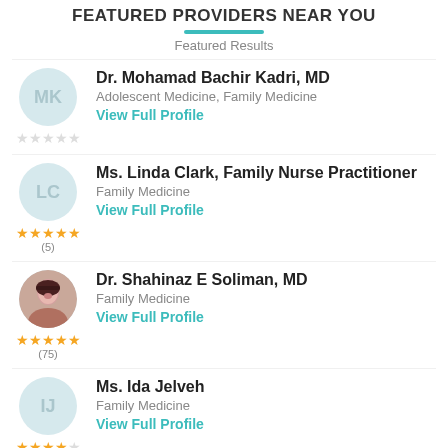FEATURED PROVIDERS NEAR YOU
Featured Results
Dr. Mohamad Bachir Kadri, MD
Adolescent Medicine, Family Medicine
View Full Profile
★★★★★
Ms. Linda Clark, Family Nurse Practitioner
Family Medicine
View Full Profile
★★★★★ (5)
Dr. Shahinaz E Soliman, MD
Family Medicine
View Full Profile
★★★★★ (75)
Ms. Ida Jelveh
Family Medicine
View Full Profile
★★★★☆ (3)
Ali. J Enayati, MD, MPH